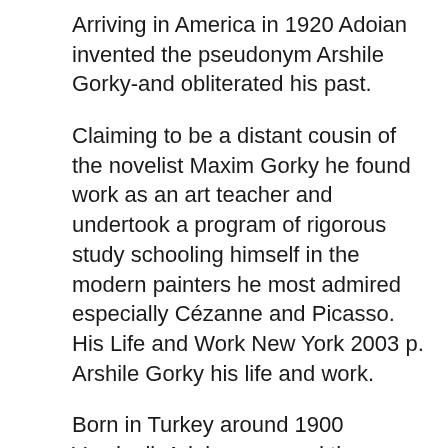Arriving in America in 1920 Adoian invented the pseudonym Arshile Gorky-and obliterated his past.
Claiming to be a distant cousin of the novelist Maxim Gorky he found work as an art teacher and undertook a program of rigorous study schooling himself in the modern painters he most admired especially Cézanne and Picasso. His Life and Work New York 2003 p. Arshile Gorky his life and work.
Born in Turkey around 1900 Vosdanik Adoian escaped the massacres of Armenians. The Man and His Era by William Taubman WW. Arshile Gorkys diverse body of work was crucial to the emergence of Abstract Expressionism.